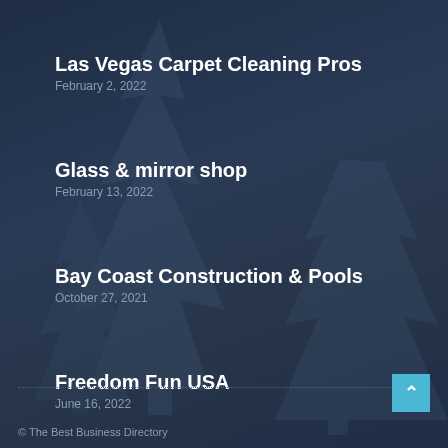Las Vegas Carpet Cleaning Pros
February 2, 2022
Glass & mirror shop
February 13, 2022
Bay Coast Construction & Pools
October 27, 2021
Freedom Fun USA
June 16, 2022
© The Best Business Directory